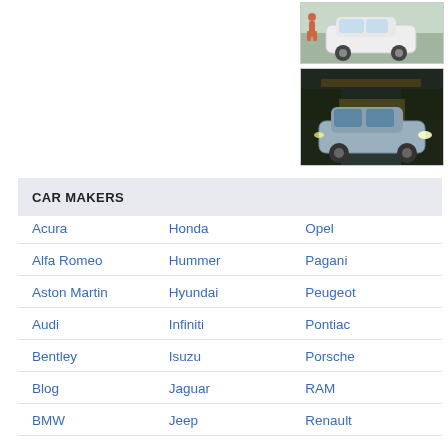[Figure (photo): White SUV car photo from side/front angle, outdoor setting]
[Figure (photo): Grey/silver SUV parked outside a building at night, illuminated]
CAR MAKERS
Acura | Honda | Opel
Alfa Romeo | Hummer | Pagani
Aston Martin | Hyundai | Peugeot
Audi | Infiniti | Pontiac
Bentley | Isuzu | Porsche
Blog | Jaguar | RAM
BMW | Jeep | Renault
Bugatti | Kia | Rolls Royce
Buick | Land Rover | Saab
Cadillac | Lexus | Scion